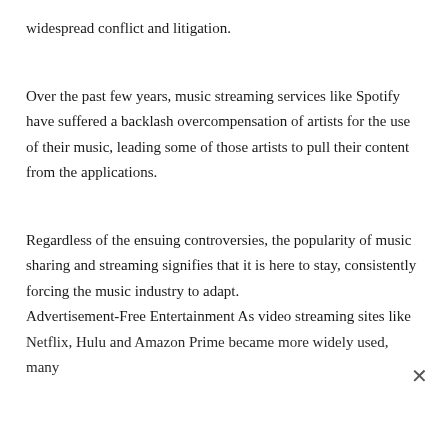widespread conflict and litigation.
Over the past few years, music streaming services like Spotify have suffered a backlash overcompensation of artists for the use of their music, leading some of those artists to pull their content from the applications.
Regardless of the ensuing controversies, the popularity of music sharing and streaming signifies that it is here to stay, consistently forcing the music industry to adapt.
Advertisement-Free Entertainment As video streaming sites like Netflix, Hulu and Amazon Prime became more widely used, many